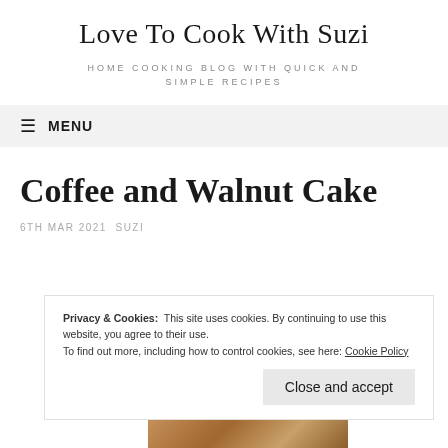Love To Cook With Suzi
HOME COOKING BLOG WITH QUICK AND SIMPLE RECIPES
≡ MENU
Coffee and Walnut Cake
6TH MAR 2021 SUZI
Privacy & Cookies: This site uses cookies. By continuing to use this website, you agree to their use. To find out more, including how to control cookies, see here: Cookie Policy
Close and accept
[Figure (photo): Partial view of a coffee and walnut cake at the bottom of the page]